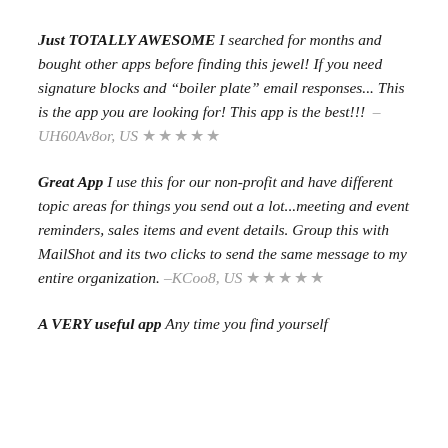Just TOTALLY AWESOME I searched for months and bought other apps before finding this jewel! If you need signature blocks and “boiler plate” email responses... This is the app you are looking for! This app is the best!!! – UH60Av8or, US ★★★★★
Great App I use this for our non-profit and have different topic areas for things you send out a lot...meeting and event reminders, sales items and event details. Group this with MailShot and its two clicks to send the same message to my entire organization. -KCoo8, US ★★★★★
A VERY useful app Any time you find yourself